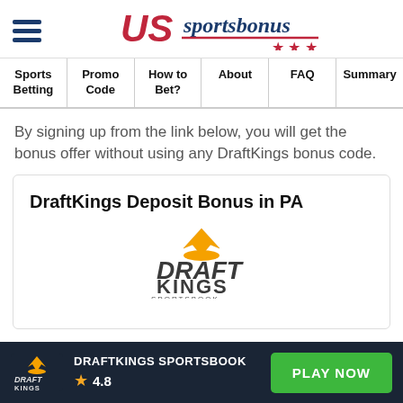US Sportsbonus logo with hamburger menu
Sports Betting | Promo Code | How to Bet? | About | FAQ | Summary
By signing up from the link below, you will get the bonus offer without using any DraftKings bonus code.
DraftKings Deposit Bonus in PA
[Figure (logo): DraftKings Sportsbook logo with orange crown]
DRAFTKINGS SPORTSBOOK 4.8 PLAY NOW